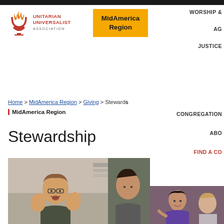[Figure (logo): Unitarian Universalist Association logo with flame icon and UUA text]
[Figure (logo): MidAmerica Region yellow button logo]
WORSHIP & AG JUSTICE CONGREGATION ABO FIND A CO
Home > MidAmerica Region > Giving > Stewardship
MidAmerica Region
Stewardship
[Figure (photo): Photo of people clapping/celebrating indoors, two people visible on left side]
[Figure (photo): Photo of people on right side, woman in purple shirt visible]